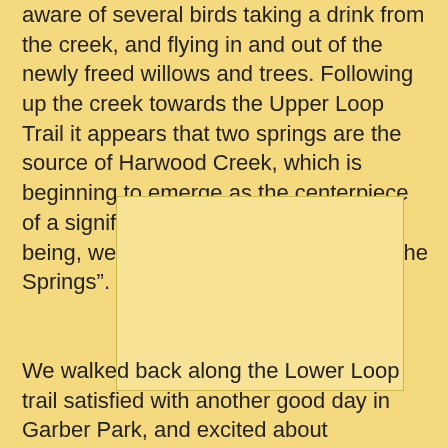aware of several birds taking a drink from the creek, and flying in and out of the newly freed willows and trees. Following up the creek towards the Upper Loop Trail it appears that two springs are the source of Harwood Creek, which is beginning to emerge as the centerpiece of a significant wetland. For the time being, we are calling this whole area “The Springs”.
[Figure (photo): A blank/empty image placeholder with a light yellow background and thin border, representing a photo of The Springs area.]
We walked back along the Lower Loop trail satisfied with another good day in Garber Park, and excited about continuing these projects at our
Next Stewardship Day:  Saturday, January 15, from 10AM-